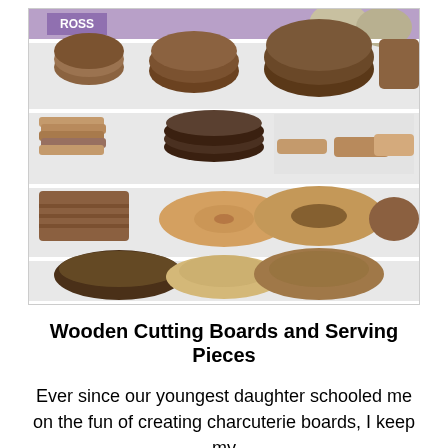[Figure (photo): A retail store shelf (Ross) displaying a wide variety of wooden cutting boards, serving boards, and wooden bowls arranged on multiple wire shelves. Items include round wood-slice boards, rectangular trays, and stacked wooden bowls in various sizes and shades of brown.]
Wooden Cutting Boards and Serving Pieces
Ever since our youngest daughter schooled me on the fun of creating charcuterie boards, I keep my